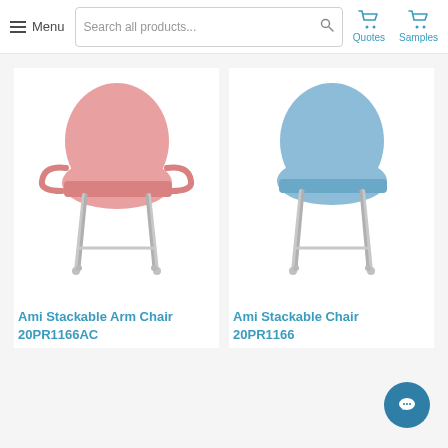Menu  Search all products...  Quotes  Samples
[Figure (photo): Pink stackable arm chair with chrome legs on white background]
Ami Stackable Arm Chair
20PR1166AC
[Figure (photo): Blue stackable chair with chrome legs on white background]
Ami Stackable Chair
20PR1166